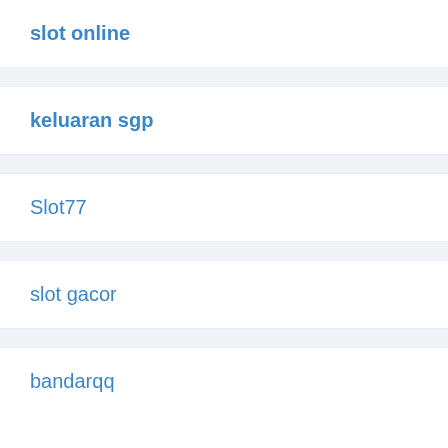slot online
keluaran sgp
Slot77
slot gacor
bandarqq